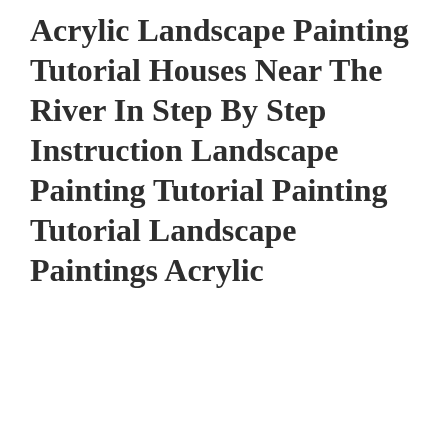Acrylic Landscape Painting Tutorial Houses Near The River In Step By Step Instruction Landscape Painting Tutorial Painting Tutorial Landscape Paintings Acrylic